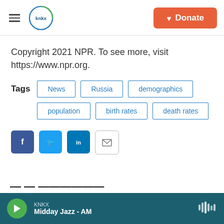KNKX — Donate
Copyright 2021 NPR. To see more, visit https://www.npr.org.
Tags: News, Russia, demographics, population, birth rates, death rates
[Figure (other): Social sharing icons: Facebook, Twitter, LinkedIn, Email]
KNKX — Midday Jazz - AM